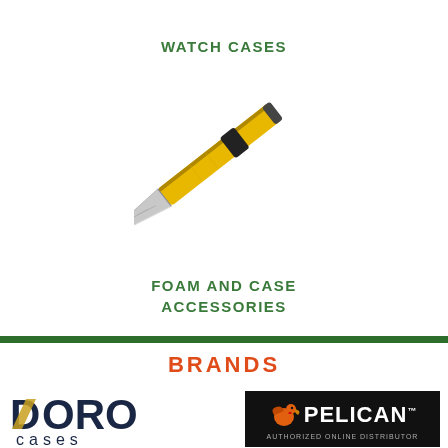WATCH CASES
[Figure (photo): A yellow and black utility box cutter / snap-blade knife shown diagonally, blade pointing upper-left]
FOAM AND CASE ACCESSORIES
BRANDS
[Figure (logo): Doro Cases logo — stylized D with gold slash, bold dark navy DORO text above, 'cases' in lowercase below]
[Figure (logo): Pelican logo on black background — orange pelican bird icon, white PELICAN text with TM mark, 'AUTHORIZED ONLINE DISTRIBUTOR' in small text below]